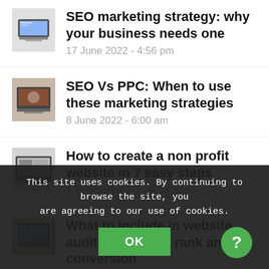SEO marketing strategy: why your business needs one
17 June 2022 - 4:56 pm
SEO Vs PPC: When to use these marketing strategies
8 June 2022 - 6:00 am
How to create a non profit website in 7 easy steps
1 February 2022 - 8:54 am
What to include in website audit to increase rank and conversion
1 December 2021 - 12:03 pm
This site uses cookies. By continuing to browse the site, you are agreeing to our use of cookies.